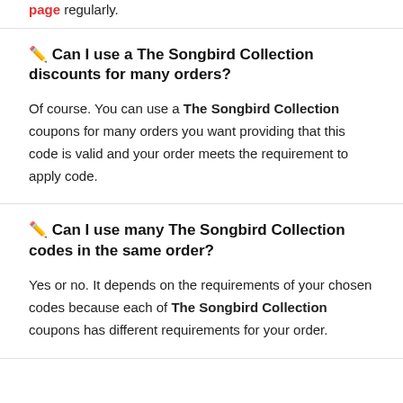page regularly.
🖊 Can I use a The Songbird Collection discounts for many orders?
Of course. You can use a The Songbird Collection coupons for many orders you want providing that this code is valid and your order meets the requirement to apply code.
🖊 Can I use many The Songbird Collection codes in the same order?
Yes or no. It depends on the requirements of your chosen codes because each of The Songbird Collection coupons has different requirements for your order.